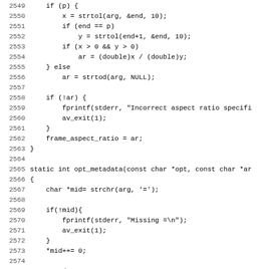[Figure (screenshot): Source code snippet in C showing lines 2549-2581, including functions for parsing aspect ratio and metadata options using strtol, strtod, strchr, fprintf, av_exit, av_realloc, av_strdup functions.]